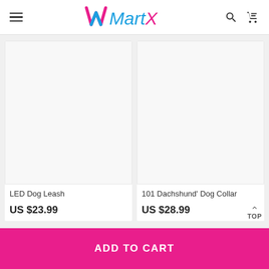MartX
[Figure (photo): Product image placeholder for LED Dog Leash]
LED Dog Leash
US $23.99
[Figure (photo): Product image placeholder for 101 Dachshund' Dog Collar]
101 Dachshund' Dog Collar
US $28.99
ADD TO CART